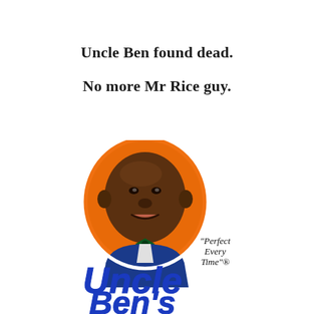Uncle Ben found dead.
No more Mr Rice guy.
[Figure (logo): Uncle Ben's brand logo featuring a portrait of an elderly Black man in a bow tie set against an orange oval background, with the text 'Uncle Ben's' in large blue letters and the tagline 'Perfect Every Time'®]